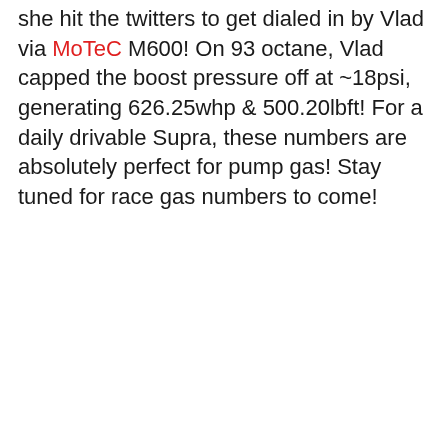she hit the twitters to get dialed in by Vlad via MoTeC M600! On 93 octane, Vlad capped the boost pressure off at ~18psi, generating 626.25whp & 500.20lbft! For a daily drivable Supra, these numbers are absolutely perfect for pump gas! Stay tuned for race gas numbers to come!